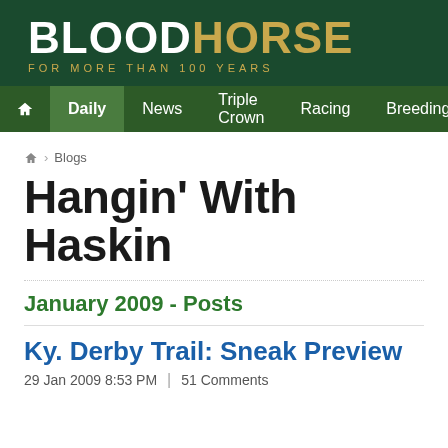BLOODHORSE FOR MORE THAN 100 YEARS
Home | Daily | News | Triple Crown | Racing | Breeding
Home › Blogs
Hangin' With Haskin
January 2009 - Posts
Ky. Derby Trail: Sneak Preview
29 Jan 2009 8:53 PM | 51 Comments